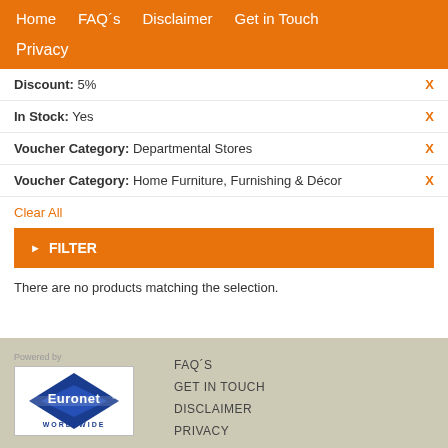Home   FAQ´s   Disclaimer   Get in Touch
Privacy
Discount: 5%  X
In Stock: Yes  X
Voucher Category: Departmental Stores  X
Voucher Category: Home Furniture, Furnishing & Décor  X
Clear All
▶ FILTER
There are no products matching the selection.
[Figure (logo): Euronet Worldwide logo — blue diamond shape with Euronet text and WORLDWIDE below]
Powered by  FAQ´S  GET IN TOUCH  DISCLAIMER  PRIVACY